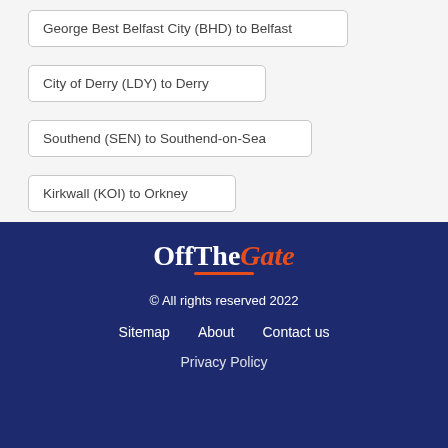George Best Belfast City (BHD) to Belfast
City of Derry (LDY) to Derry
Southend (SEN) to Southend-on-Sea
Kirkwall (KOI) to Orkney
[Figure (logo): OffTheGate logo with white serif text 'OffThe' and orange italic 'Gate', with orange underline]
© All rights reserved 2022
Sitemap   About   Contact us
Privacy Policy